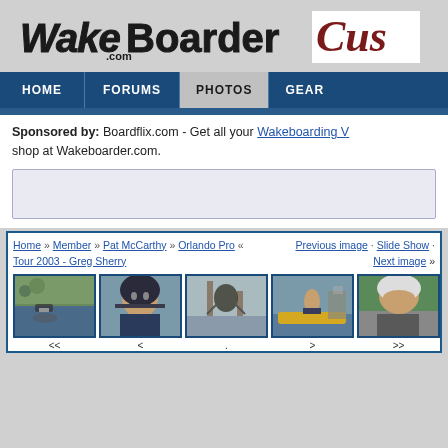[Figure (logo): WakeBoarder.com website logo with stylized text and partial 'Cus' text visible on right]
HOME | FORUMS | PHOTOS | GEAR
Sponsored by: Boardflix.com - Get all your Wakeboarding V... shop at Wakeboarder.com.
[Figure (other): Advertisement banner placeholder]
Home » Member » Pat McCarthy » Orlando Pro « Previous image · Slide Show · Tour 2003 - Greg Sherry Next image »
[Figure (photo): Five wakeboarding thumbnail photos showing: a boat on water, a rider with helmet close-up, a trick jump, a rider on a yellow boat/dock, and a rider with white helmet close-up]
<< < . > >>